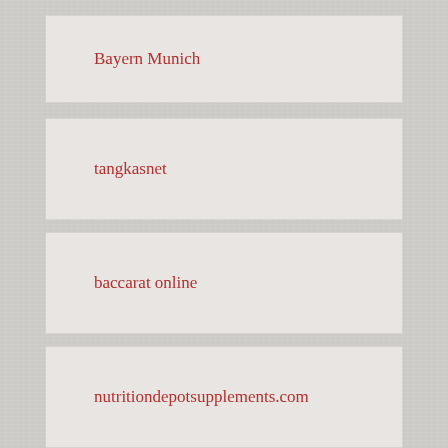Bayern Munich
tangkasnet
baccarat online
nutritiondepotsupplements.com
situs judi slot online
slot online